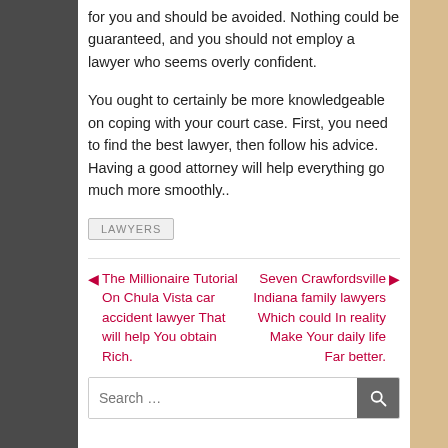for you and should be avoided. Nothing could be guaranteed, and you should not employ a lawyer who seems overly confident.
You ought to certainly be more knowledgeable on coping with your court case. First, you need to find the best lawyer, then follow his advice. Having a good attorney will help everything go much more smoothly..
LAWYERS
◄ The Millionaire Tutorial On Chula Vista car accident lawyer That will help You obtain Rich.
Seven Crawfordsville Indiana family lawyers Which could In reality Make Your daily life Far better. ►